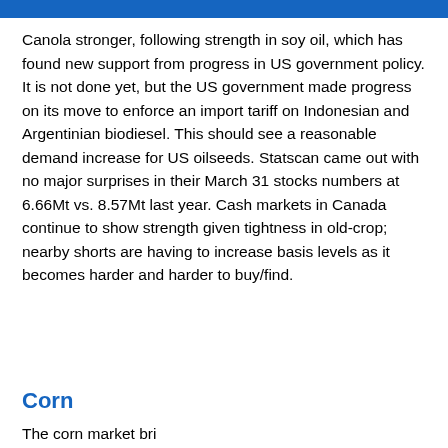[Figure (other): Blue banner/header bar at top of page]
Canola stronger, following strength in soy oil, which has found new support from progress in US government policy. It is not done yet, but the US government made progress on its move to enforce an import tariff on Indonesian and Argentinian biodiesel. This should see a reasonable demand increase for US oilseeds. Statscan came out with no major surprises in their March 31 stocks numbers at 6.66Mt vs. 8.57Mt last year. Cash markets in Canada continue to show strength given tightness in old-crop; nearby shorts are having to increase basis levels as it becomes harder and harder to buy/find.
Corn
The corn market had bright futures, or something to that effect...